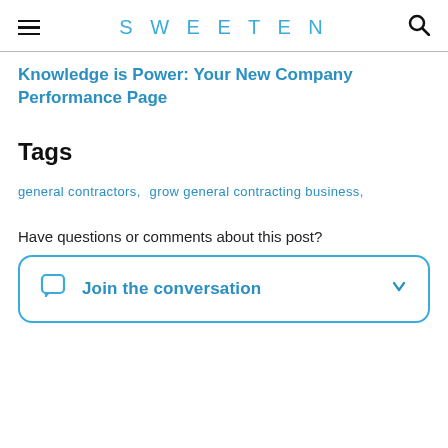SWEETEN
Knowledge is Power: Your New Company Performance Page
Tags
general contractors,  grow general contracting business,
Have questions or comments about this post?
Join the conversation